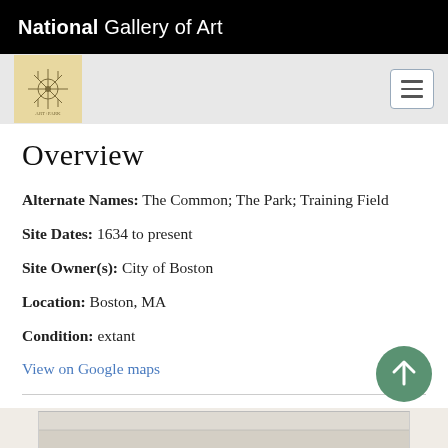National Gallery of Art
Overview
Alternate Names: The Common; The Park; Training Field
Site Dates: 1634 to present
Site Owner(s): City of Boston
Location: Boston, MA
Condition: extant
View on Google maps
History
[Figure (photo): Partial view of a historical image at the bottom of the page]